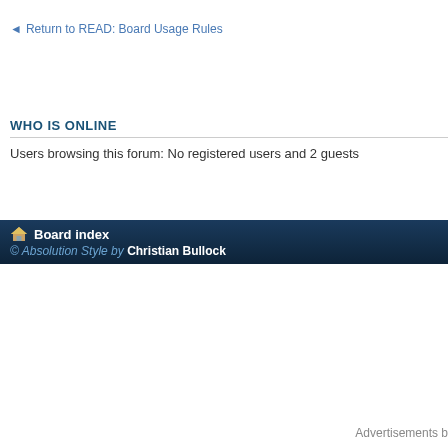◄ Return to READ: Board Usage Rules
WHO IS ONLINE
Users browsing this forum: No registered users and 2 guests
Board index
© Absolution Style by Christian Bullock
Advertisements b